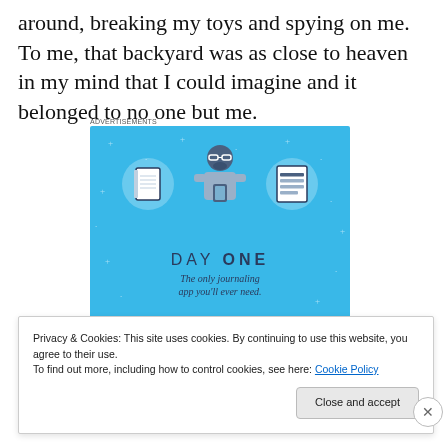around, breaking my toys and spying on me. To me, that backyard was as close to heaven in my mind that I could imagine and it belonged to no one but me.
[Figure (illustration): Day One journaling app advertisement. Light blue background with small white star/plus decorations. Three circular icons showing a notebook, a person using a phone, and a list/document. Text reads 'DAY ONE' and 'The only journaling app you'll ever need.']
Privacy & Cookies: This site uses cookies. By continuing to use this website, you agree to their use.
To find out more, including how to control cookies, see here: Cookie Policy